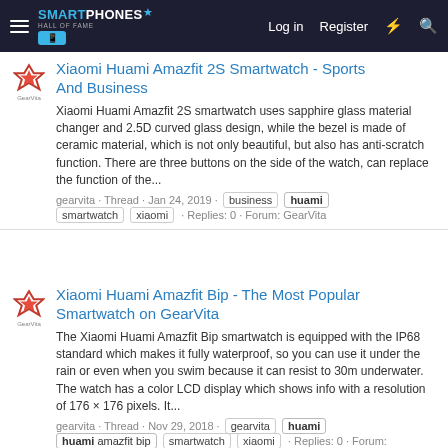SMARTPHONES — Log in  Register
Xiaomi Huami Amazfit 2S Smartwatch - Sports And Business
Xiaomi Huami Amazfit 2S smartwatch uses sapphire glass material changer and 2.5D curved glass design, while the bezel is made of ceramic material, which is not only beautiful, but also has anti-scratch function. There are three buttons on the side of the watch, can replace the function of the...
gearvita · Thread · Jan 24, 2019 · business  huami  smartwatch  xiaomi · Replies: 0 · Forum: GearVita
Xiaomi Huami Amazfit Bip - The Most Popular Smartwatch on GearVita
The Xiaomi Huami Amazfit Bip smartwatch is equipped with the IP68 standard which makes it fully waterproof, so you can use it under the rain or even when you swim because it can resist to 30m underwater. The watch has a color LCD display which shows info with a resolution of 176 × 176 pixels. It...
gearvita · Thread · Nov 29, 2018 · gearvita  huami  huami amazfit bip  smartwatch  xiaomi · Replies: 0 · Forum: GearVita